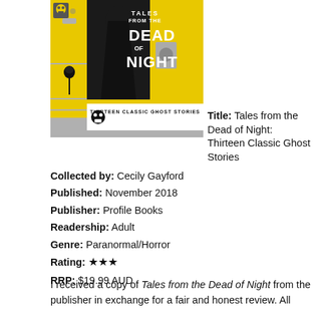[Figure (illustration): Book cover of 'Tales from the Dead of Night: Thirteen Classic Ghost Stories' with yellow, grey and black graphic design featuring a skeleton/grim reaper silhouette and skull motifs]
Title: Tales from the Dead of Night: Thirteen Classic Ghost Stories
Collected by: Cecily Gayford
Published: November 2018
Publisher: Profile Books
Readership: Adult
Genre: Paranormal/Horror
Rating: ★★★
RRP: $19.99 AUD
I received a copy of Tales from the Dead of Night from the publisher in exchange for a fair and honest review. All